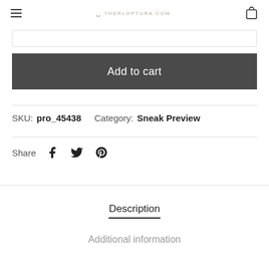THERLOPTURA.COM
[Figure (screenshot): Input bar / quantity selector box]
Add to cart
SKU: pro_45438   Category: Sneak Preview
Share
Description
Additional information